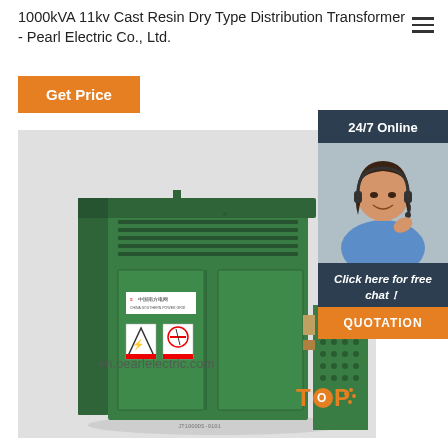1000kVA 11kv Cast Resin Dry Type Distribution Transformer - Pearl Electric Co., Ltd.
[Figure (other): Orange 'Get Price' button]
[Figure (photo): Green outdoor cast resin dry type distribution transformer enclosure, labelled with China Southern Power Grid (中国南方电网) logo and safety warning stickers, including electrical hazard and no-entry symbols. Watermark text: en.pearlelectric.com]
[Figure (photo): Right sidebar: 24/7 Online banner with photo of smiling female customer support agent wearing headset. Below: 'Click here for free chat!' text and orange QUOTATION button.]